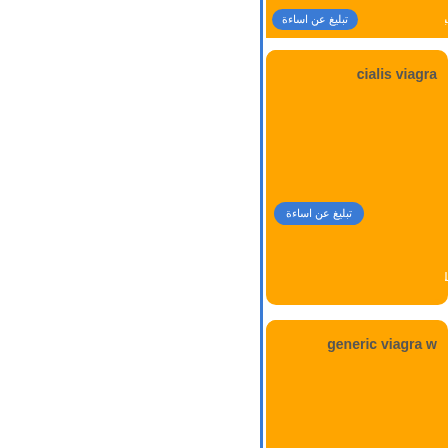[Figure (screenshot): Web page showing a list of spam/abuse report cards with orange background. Left side is white with a blue vertical border. Right side shows multiple orange rounded cards each with Arabic text button 'تبليغ عن اساءة' (Report Abuse) and English titles: 'cialis viagra', 'generic viagra w', 'uncle hank', 'generic viagra r'.]